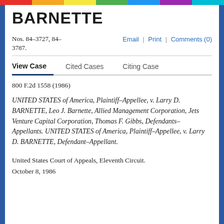BARNETTE
Nos. 84-3727, 84-3787.
Email | Print | Comments (0)
View Case  Cited Cases  Citing Case
800 F.2d 1558 (1986)
UNITED STATES of America, Plaintiff-Appellee, v. Larry D. BARNETTE, Leo J. Barnette, Allied Management Corporation, Jets Venture Capital Corporation, Thomas F. Gibbs, Defendants-Appellants. UNITED STATES of America, Plaintiff-Appellee, v. Larry D. BARNETTE, Defendant-Appellant.
United States Court of Appeals, Eleventh Circuit.
October 8, 1986